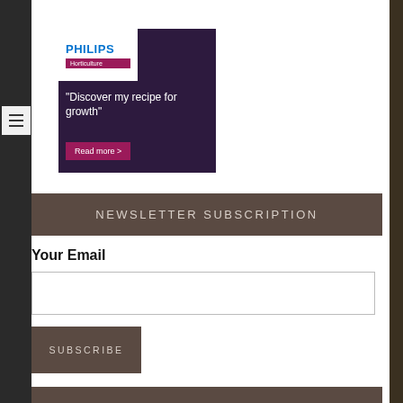[Figure (screenshot): Philips Horticulture advertisement banner with dark purple background showing logo, tagline and Read more button]
NEWSLETTER SUBSCRIPTION
Your Email
SUBSCRIBE
RECENT POSTS